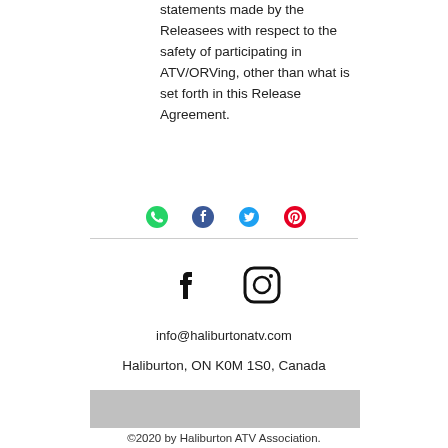statements made by the Releasees with respect to the safety of participating in ATV/ORVing, other than what is set forth in this Release Agreement.
[Figure (infographic): Social share icons: WhatsApp (green), Facebook (dark blue/navy), Twitter (blue bird), Pinterest (red)]
[Figure (infographic): Facebook and Instagram icons in black]
info@haliburtonatv.com
Haliburton, ON K0M 1S0, Canada
[Figure (other): Gray rectangular banner]
©2020 by Haliburton ATV Association.